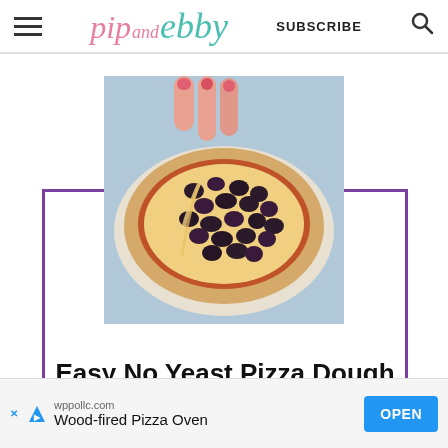pip and ebby — SUBSCRIBE
[Figure (photo): A hand holding a slice of pizza topped with black olives and melted cheese, being lifted from a round pizza on a plate, on a blue background.]
Easy No Yeast Pizza Dough Recipe
wppollc.com  Wood-fired Pizza Oven  OPEN